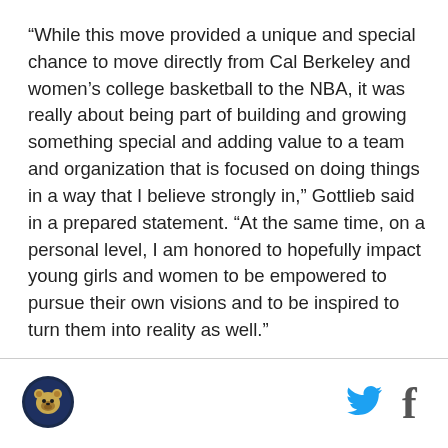“While this move provided a unique and special chance to move directly from Cal Berkeley and women’s college basketball to the NBA, it was really about being part of building and growing something special and adding value to a team and organization that is focused on doing things in a way that I believe strongly in,” Gottlieb said in a prepared statement. “At the same time, on a personal level, I am honored to hopefully impact young girls and women to be empowered to pursue their own visions and to be inspired to turn them into reality as well.”
[Figure (logo): Circular logo with golden bear mascot on dark background]
[Figure (logo): Twitter bird icon in cyan/blue]
[Figure (logo): Facebook f icon in blue]